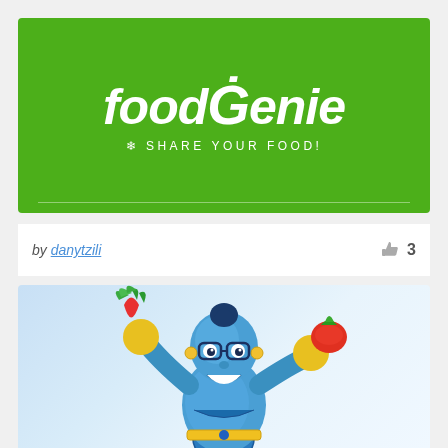[Figure (logo): FoodGenie logo on green background. White text reads 'foodgenie' in italic with a genie lamp icon and tagline 'SHARE YOUR FOOD!']
by danytzili   👍 3
[Figure (illustration): Blue cartoon genie mascot character holding a radish/vegetable in one hand and a red tomato in the other, wearing glasses and a chef-like appearance with yellow accents, emerging from a swirl. Light blue gradient background.]